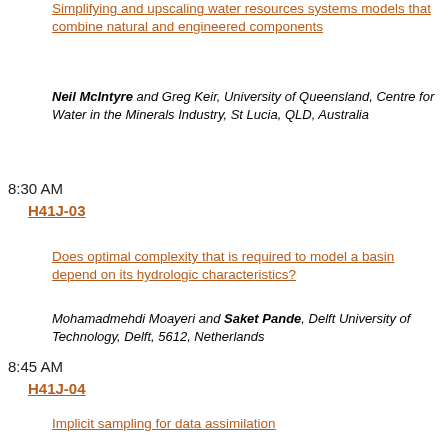Simplifying and upscaling water resources systems models that combine natural and engineered components
Neil McIntyre and Greg Keir, University of Queensland, Centre for Water in the Minerals Industry, St Lucia, QLD, Australia
8:30 AM
H41J-03
Does optimal complexity that is required to model a basin depend on its hydrologic characteristics?
Mohamadmehdi Moayeri and Saket Pande, Delft University of Technology, Delft, 5612, Netherlands
8:45 AM
H41J-04
Implicit sampling for data assimilation
Xuemin Tu1, Alexandre J Chorin2 and Matthias Morzfeld2, (1)University of Kansas, Lawrence, KS, United States, (2)University of California Berkeley, Berkeley, CA, United States